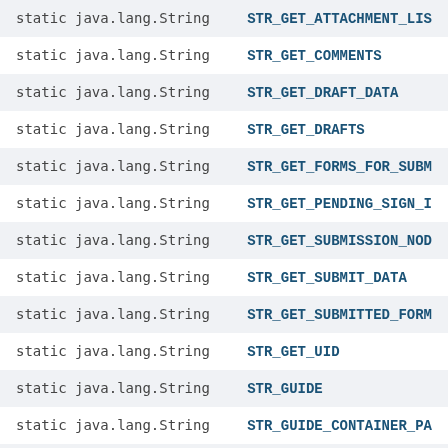| Modifier and Type | Field |
| --- | --- |
| static java.lang.String | STR_GET_ATTACHMENT_LIS… |
| static java.lang.String | STR_GET_COMMENTS |
| static java.lang.String | STR_GET_DRAFT_DATA |
| static java.lang.String | STR_GET_DRAFTS |
| static java.lang.String | STR_GET_FORMS_FOR_SUBM… |
| static java.lang.String | STR_GET_PENDING_SIGN_I… |
| static java.lang.String | STR_GET_SUBMISSION_NOD… |
| static java.lang.String | STR_GET_SUBMIT_DATA |
| static java.lang.String | STR_GET_SUBMITTED_FORM… |
| static java.lang.String | STR_GET_UID |
| static java.lang.String | STR_GUIDE |
| static java.lang.String | STR_GUIDE_CONTAINER_PA… |
| static java.lang.String | STR_GUIDE_NAME |
| static java.lang.String | STR_GUIDE_PATH |
| static java.lang.String | STR_GUIDE_STATE |